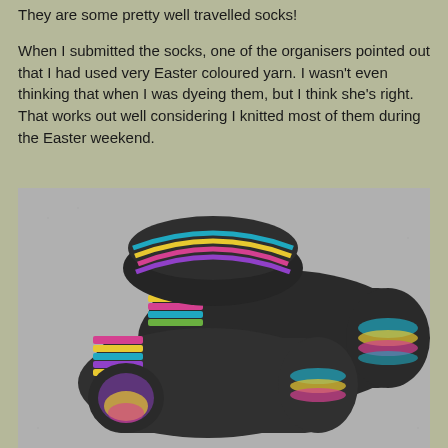They are some pretty well travelled socks!
When I submitted the socks, one of the organisers pointed out that I had used very Easter coloured yarn. I wasn't even thinking that when I was dyeing them, but I think she's right. That works out well considering I knitted most of them during the Easter weekend.
[Figure (photo): Two dark/black hand-knitted socks laid flat on a grey carpet, showing colourful Easter-coloured striped yarn accents at the cuffs, heels and toes in pink, yellow, blue, green and purple.]